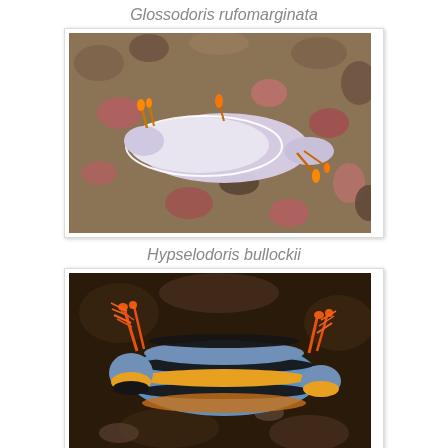Glossodoris rufomarginata
[Figure (photo): Photograph of Glossodoris rufomarginata nudibranch, a white/pale lavender sea slug with orange-tipped rhinophores and gills, crawling on a rocky encrusted substrate with reddish and brown coralline algae.]
Hypselodoris bullockii
[Figure (photo): Photograph of Hypselodoris bullockii nudibranch, a colorful sea slug with blue, black, and yellow-orange longitudinal stripes, with prominent orange feathery gills and rhinophores, on a dark rocky substrate.]